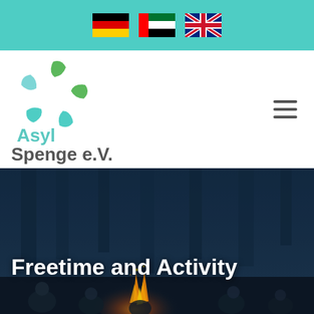[Figure (other): Top navigation bar with German, UAE, and UK flag icons on teal background]
[Figure (logo): Asyl Spenge e.V. logo with circular hands globe graphic in green and teal, text 'Asyl Spenge e.V.' below, hamburger menu on right]
[Figure (photo): Dark night photo of people sitting around a campfire in a forest]
Freetime and Activity